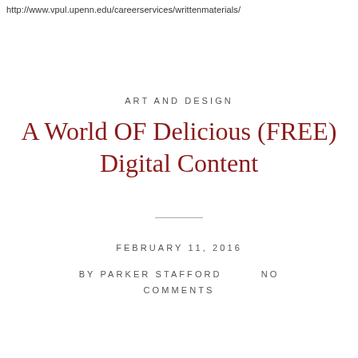http://www.vpul.upenn.edu/careerservices/writtenmaterials/
ART AND DESIGN
A World OF Delicious (FREE) Digital Content
FEBRUARY 11, 2016
BY PARKER STAFFORD        NO COMMENTS